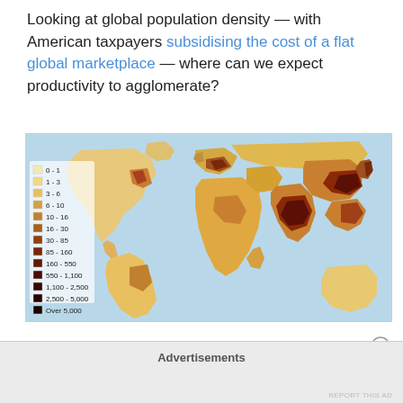Looking at global population density — with American taxpayers subsidising the cost of a flat global marketplace — where can we expect productivity to agglomerate?
[Figure (map): World map showing global population density with a color gradient legend ranging from 0-1 (lightest yellow) to Over 5,000 (darkest brown/maroon) people per square kilometer. Dense areas visible in South/East Asia, Western Europe, and Eastern North America.]
Advertisements